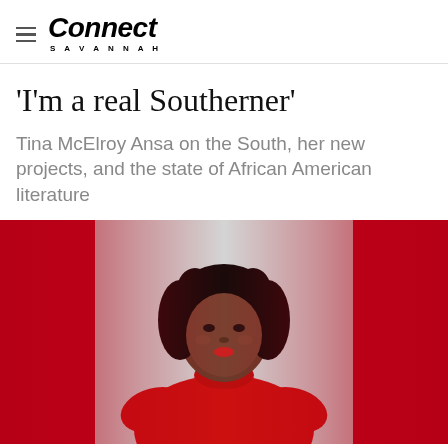Connect Savannah
‘I’m a real Southerner’
Tina McElroy Ansa on the South, her new projects, and the state of African American literature
[Figure (photo): Portrait photo of Tina McElroy Ansa wearing a red turtleneck sweater, hands on hips, with dark curly hair, set against a red background.]
Tina McElroy Ansa